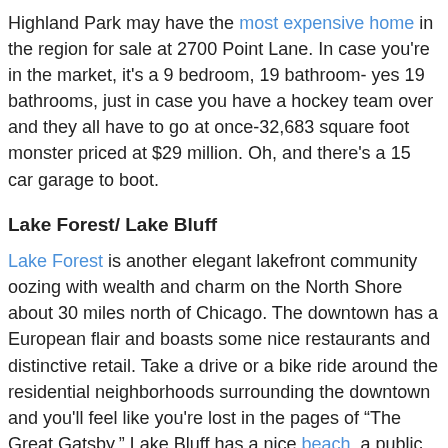Highland Park may have the most expensive home in the region for sale at 2700 Point Lane. In case you're in the market, it's a 9 bedroom, 19 bathroom- yes 19 bathrooms, just in case you have a hockey team over and they all have to go at once-32,683 square foot monster priced at $29 million. Oh, and there's a 15 car garage to boot.
Lake Forest/ Lake Bluff
Lake Forest is another elegant lakefront community oozing with wealth and charm on the North Shore about 30 miles north of Chicago. The downtown has a European flair and boasts some nice restaurants and distinctive retail. Take a drive or a bike ride around the residential neighborhoods surrounding the downtown and you'll feel like you're lost in the pages of "The Great Gatsby." Lake Bluff has a nice beach, a public green and an old time corner store.
In Lake Forest, check out the mansions on North Mayflower